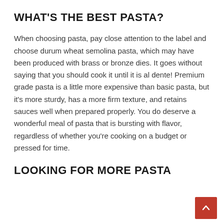WHAT'S THE BEST PASTA?
When choosing pasta, pay close attention to the label and choose durum wheat semolina pasta, which may have been produced with brass or bronze dies. It goes without saying that you should cook it until it is al dente! Premium grade pasta is a little more expensive than basic pasta, but it's more sturdy, has a more firm texture, and retains sauces well when prepared properly. You do deserve a wonderful meal of pasta that is bursting with flavor, regardless of whether you're cooking on a budget or pressed for time.
LOOKING FOR MORE PASTA